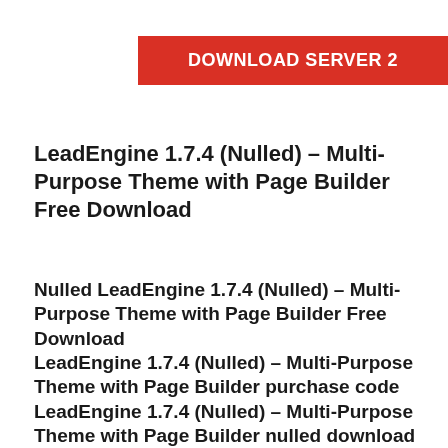[Figure (other): Red download button labeled DOWNLOAD SERVER 2]
LeadEngine 1.7.4 (Nulled) – Multi-Purpose Theme with Page Builder Free Download
Nulled LeadEngine 1.7.4 (Nulled) – Multi-Purpose Theme with Page Builder Free Download
LeadEngine 1.7.4 (Nulled) – Multi-Purpose Theme with Page Builder purchase code
LeadEngine 1.7.4 (Nulled) – Multi-Purpose Theme with Page Builder nulled download